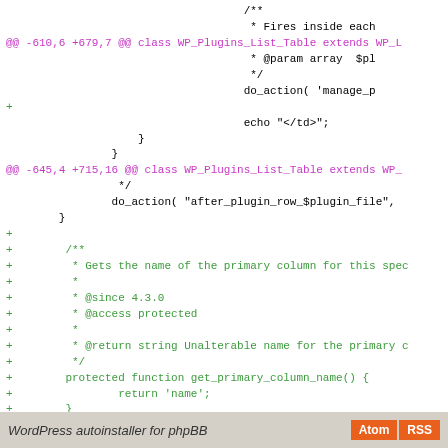[Figure (screenshot): Code diff view showing PHP code changes in WP_Plugins_List_Table class. Lines show additions (green, prefixed with +) and context lines (black). Two diff hunks visible: @@ -610,6 +679,7 @@ and @@ -645,4 +715,16 @@. Footer bar shows 'WordPress autoinstaller for phpBB' with Atom and RSS buttons.]
WordPress autoinstaller for phpBB   Atom RSS